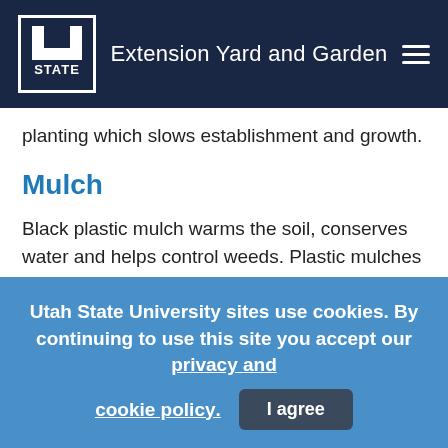Extension Yard and Garden
planting which slows establishment and growth.
Mulch
Black plastic mulch warms the soil, conserves water and helps control weeds. Plastic mulches allow earlier planting and maturity, especially with transplants. After laying out the mulch, secure the edges with soil and cut holes for seeds or transplants. When using plastic mulches and row
Utah State University sites use cookies. By continuing to use this site you accept our privacy and cookie policy.